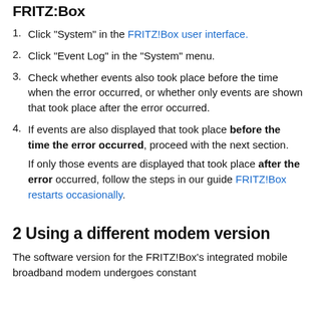FRITZ:Box
Click "System" in the FRITZ!Box user interface.
Click "Event Log" in the "System" menu.
Check whether events also took place before the time when the error occurred, or whether only events are shown that took place after the error occurred.
If events are also displayed that took place before the time the error occurred, proceed with the next section.

If only those events are displayed that took place after the error occurred, follow the steps in our guide FRITZ!Box restarts occasionally.
2 Using a different modem version
The software version for the FRITZ!Box's integrated mobile broadband modem undergoes constant